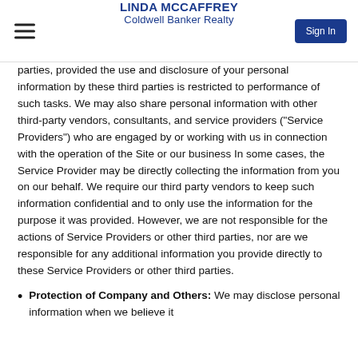LINDA MCCAFFREY
Coldwell Banker Realty
parties, provided the use and disclosure of your personal information by these third parties is restricted to performance of such tasks. We may also share personal information with other third-party vendors, consultants, and service providers ("Service Providers") who are engaged by or working with us in connection with the operation of the Site or our business In some cases, the Service Provider may be directly collecting the information from you on our behalf. We require our third party vendors to keep such information confidential and to only use the information for the purpose it was provided. However, we are not responsible for the actions of Service Providers or other third parties, nor are we responsible for any additional information you provide directly to these Service Providers or other third parties.
Protection of Company and Others: We may disclose personal information when we believe it